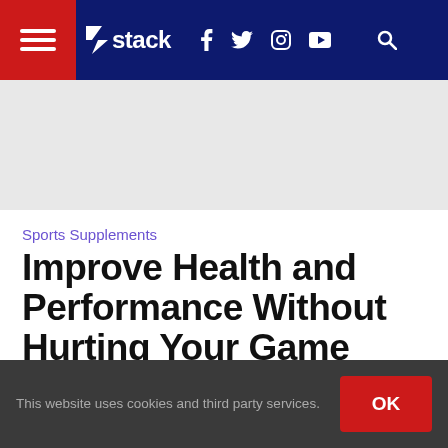Stack — navigation bar with hamburger menu, logo, social icons (Facebook, Twitter, Instagram, YouTube), and search
[Figure (other): Gray advertisement banner area]
Sports Supplements
Improve Health and Performance Without Hurting Your Game
By Cheryl Luptowski  Published On: 2012-03-21
[Figure (photo): Black image/video area below article header]
This website uses cookies and third party services.